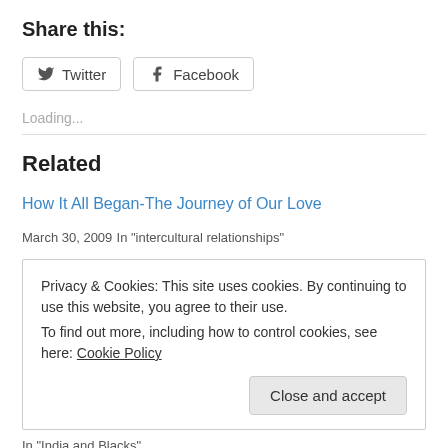Share this:
[Figure (other): Twitter and Facebook share buttons]
Loading...
Related
How It All Began-The Journey of Our Love
March 30, 2009
In "intercultural relationships"
Privacy & Cookies: This site uses cookies. By continuing to use this website, you agree to their use.
To find out more, including how to control cookies, see here: Cookie Policy
In "India and Blacks"